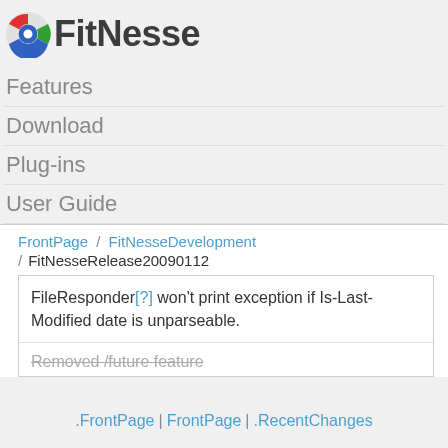[Figure (logo): FitNesse logo with circular icon (red, green, blue segments) and bold text 'FitNesse']
Features
Download
Plug-ins
User Guide
FrontPage / FitNesseDevelopment / FitNesseRelease20090112
FileResponder[?] won't print exception if Is-Last-Modified date is unparseable.
Removed /future feature
.FrontPage | FrontPage | .RecentChanges